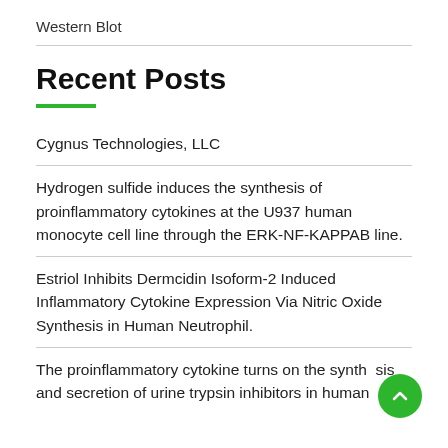Western Blot
Recent Posts
Cygnus Technologies, LLC
Hydrogen sulfide induces the synthesis of proinflammatory cytokines at the U937 human monocyte cell line through the ERK-NF-KAPPAB line.
Estriol Inhibits Dermcidin Isoform-2 Induced Inflammatory Cytokine Expression Via Nitric Oxide Synthesis in Human Neutrophil.
The proinflammatory cytokine turns on the synthesis and secretion of urine trypsin inhibitors in human